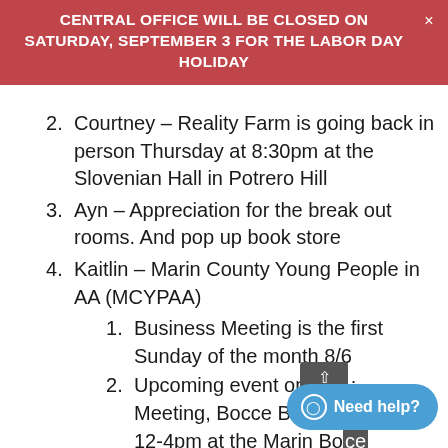CENTRAL OFFICE WILL BE CLOSED ON SATURDAY, SEPTEMBER 3 FOR THE LABOR DAY HOLIDAY
2. Courtney – Reality Farm is going back in person Thursday at 8:30pm at the Slovenian Hall in Potrero Hill
3. Ayn – Appreciation for the break out rooms. And pop up book store
4. Kaitlin – Marin County Young People in AA (MCYPAA)
1. Business Meeting is the first Sunday of the month 8/6
2. Upcoming event on 8/21: Meeting, Bocce Ball, BBQ from 12-4pm at the Marin Bocce Federation in San Ra...
5. Melissa – Grateful member of the...